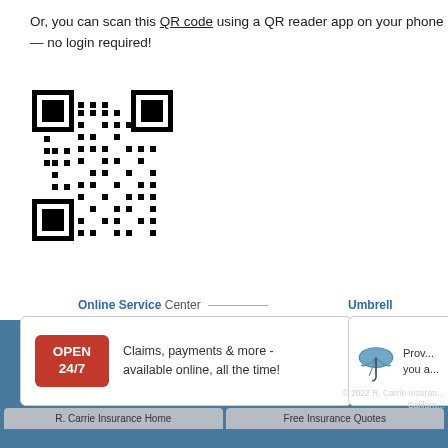Or, you can scan this QR code using a QR reader app on your phone — no login required!
[Figure (other): QR code image for scanning with a smartphone QR reader app]
Online Service Center
Claims, payments & more - available online, all the time!
Umbrella
Prov... you a...
R. Carrie Insurance Home | Free Insurance Quotes
© 2022 R. Carrie Insuran...
Californ...